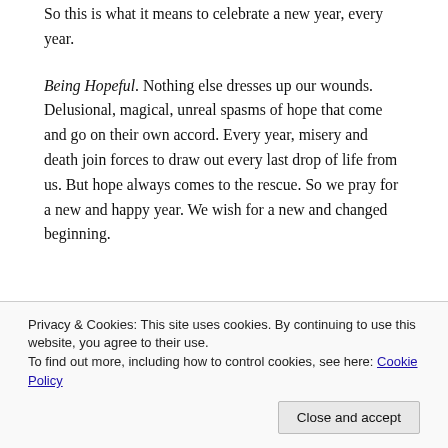So this is what it means to celebrate a new year, every year.
Being Hopeful. Nothing else dresses up our wounds. Delusional, magical, unreal spasms of hope that come and go on their own accord. Every year, misery and death join forces to draw out every last drop of life from us. But hope always comes to the rescue. So we pray for a new and happy year. We wish for a new and changed beginning.
Privacy & Cookies: This site uses cookies. By continuing to use this website, you agree to their use. To find out more, including how to control cookies, see here: Cookie Policy